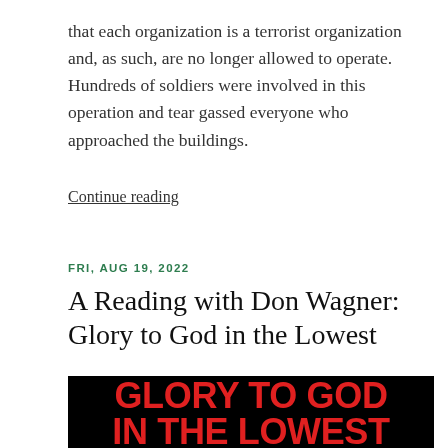that each organization is a terrorist organization and, as such, are no longer allowed to operate. Hundreds of soldiers were involved in this operation and tear gassed everyone who approached the buildings.
Continue reading
FRI, AUG 19, 2022
A Reading with Don Wagner: Glory to God in the Lowest
[Figure (photo): Book cover with black background and red text reading GLORY TO GOD IN THE LOWEST]